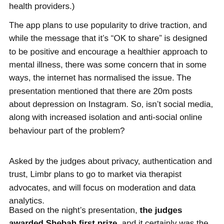health providers.)
The app plans to use popularity to drive traction, and while the message that it’s “OK to share” is designed to be positive and encourage a healthier approach to mental illness, there was some concern that in some ways, the internet has normalised the issue. The presentation mentioned that there are 20m posts about depression on Instagram. So, isn’t social media, along with increased isolation and anti-social online behaviour part of the problem?
Asked by the judges about privacy, authentication and trust, Limbr plans to go to market via therapist advocates, and will focus on moderation and data analytics.
Based on the night’s presentation, the judges awarded Shebah first prize, and it certainly was the most engaging